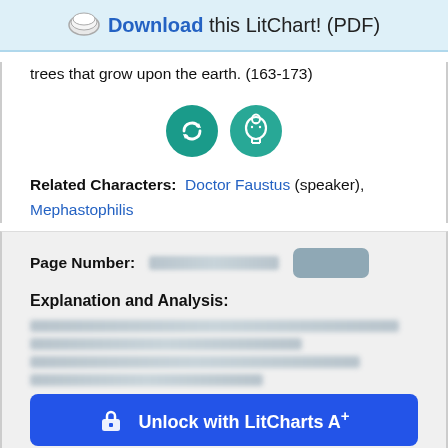Download this LitChart! (PDF)
trees that grow upon the earth. (163-173)
[Figure (illustration): Two circular teal icons: one showing a recycling/refresh symbol, one showing a head with a lightbulb]
Related Characters: Doctor Faustus (speaker), Mephastophilis
Page Number: [blurred] [blurred button]
Explanation and Analysis:
[blurred explanation text]
Unlock with LitCharts A+